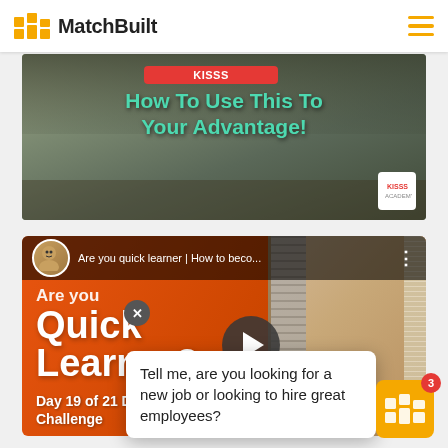MatchBuilt
[Figure (screenshot): Video thumbnail showing a person pointing at the camera with text overlay 'How To Use This To Your Advantage!' in teal/green color on a dark background, with a red button at top and a small badge in bottom right corner.]
[Figure (screenshot): YouTube-style video thumbnail for 'Are you quick learner | How to beco...' with orange/red gradient background, large white bold text 'Are you Quick Learner?' and a play button in the center. Bottom shows 'Day 19 of 21 Day Challenge'. Right side shows a notebook and ruler. A tooltip popup overlays the bottom reading 'Tell me, are you looking for a new job or looking to hire great employees?' with a close (X) button.]
Tell me, are you looking for a new job or looking to hire great employees?